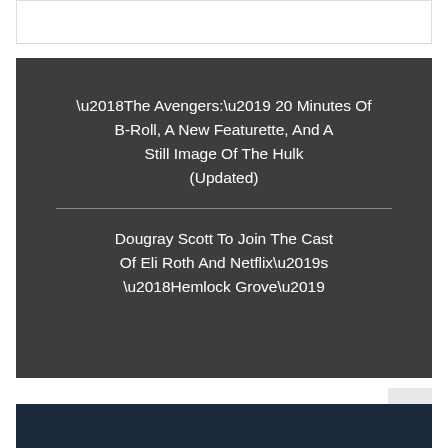[Figure (other): White bordered box at top of page]
‘The Avengers:’ 20 Minutes Of B-Roll, A New Featurette, And A Still Image Of The Hulk (Updated)
Dougray Scott To Join The Cast Of Eli Roth And Netflix’s ‘Hemlock Grove’
[Figure (other): Scroll-to-top button with double chevron icon]
[Figure (photo): Dark blue-toned image at bottom of page, partially visible]